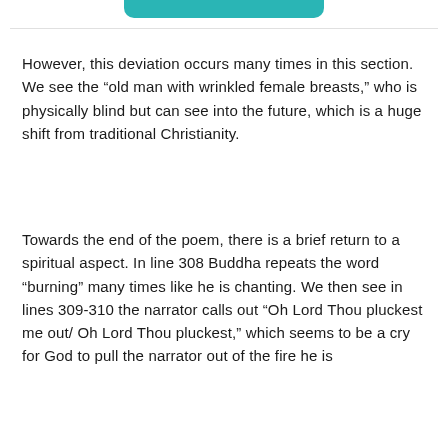[Figure (other): Teal/turquoise rounded bar at the top center of the page]
However, this deviation occurs many times in this section. We see the “old man with wrinkled female breasts,” who is physically blind but can see into the future, which is a huge shift from traditional Christianity.
Towards the end of the poem, there is a brief return to a spiritual aspect. In line 308 Buddha repeats the word “burning” many times like he is chanting. We then see in lines 309-310 the narrator calls out “Oh Lord Thou pluckest me out/ Oh Lord Thou pluckest,” which seems to be a cry for God to pull the narrator out of the fire he is